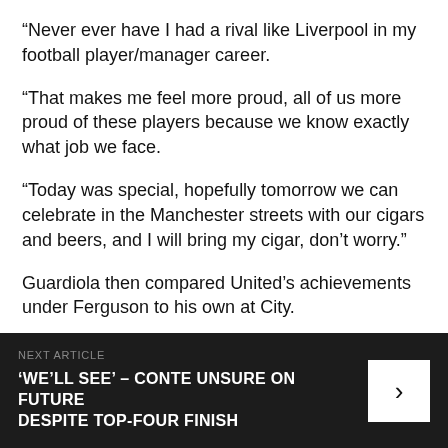“Never ever have I had a rival like Liverpool in my football player/manager career.
“That makes me feel more proud, all of us more proud of these players because we know exactly what job we face.
“Today was special, hopefully tomorrow we can celebrate in the Manchester streets with our cigars and beers, and I will bring my cigar, don’t worry.”
Guardiola then compared United’s achievements under Ferguson to his own at City.
“Last five years we won four Premier Leagues, these guys are legends already. I’m sorry. People have to
NEXT ARTICLE
‘WE’LL SEE’ – CONTE UNSURE ON FUTURE DESPITE TOP-FOUR FINISH